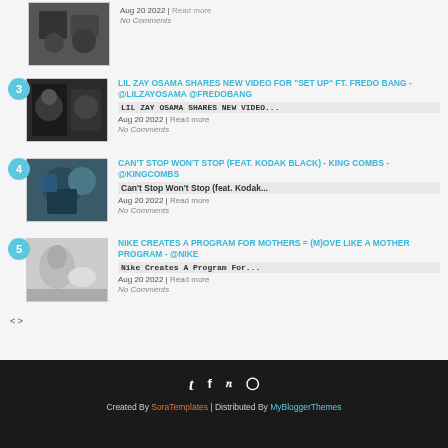No Comments
LIL ZAY OSAMA SHARES NEW VIDEO FOR "SET UP" FT. FREDO BANG - @LILZAYOSAMA @FREDOBANG | LIL ZAY OSAMA SHARES NEW VIDEO... | Aug 20 2022 | Read more | No Comments
CAN'T STOP WON'T STOP (FEAT. KODAK BLACK) - KING COMBS - @KINGCOMBS | Can't Stop Won't Stop (feat. Kodak... | Aug 20 2022 | Read more | No Comments
NIKE CREATES A PROGRAM FOR MOTHERS = (M)OVE LIKE A MOTHER PROGRAM - @NIKE | Nike Creates A Program For... | Aug 20 2022 | Read more | No Comments
< >
Created By SoraTemplates | Distributed By MyBloggerThemes